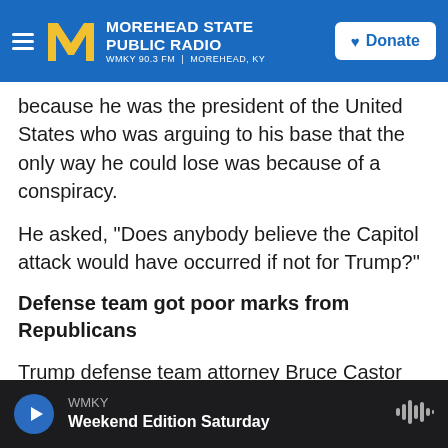MOREHEAD STATE PUBLIC RADIO — WMKY 90.3 FM | MOREHEAD, KY — Donate
because he was the president of the United States who was arguing to his base that the only way he could lose was because of a conspiracy.
He asked, "Does anybody believe the Capitol attack would have occurred if not for Trump?"
Defense team got poor marks from Republicans
Trump defense team attorney Bruce Castor Jr., a former prosecutor from suburban Philadelphia, was the lead-off speaker. He began his remarks name-checking some senators and discussing their roles, and it was unclear how his musings would form the
WMKY — Weekend Edition Saturday